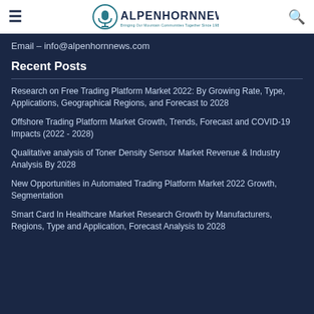AlpenhornNews – Bringing Our Mountain Communities Together Since 1985
Email – info@alpenhornnews.com
Recent Posts
Research on Free Trading Platform Market 2022: By Growing Rate, Type, Applications, Geographical Regions, and Forecast to 2028
Offshore Trading Platform Market Growth, Trends, Forecast and COVID-19 Impacts (2022 - 2028)
Qualitative analysis of Toner Density Sensor Market Revenue & Industry Analysis By 2028
New Opportunities in Automated Trading Platform Market 2022 Growth, Segmentation
Smart Card In Healthcare Market Research Growth by Manufacturers, Regions, Type and Application, Forecast Analysis to 2028